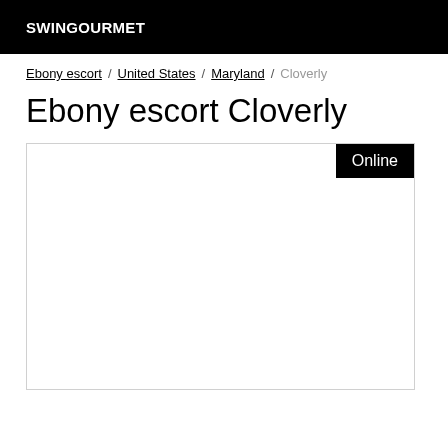SWINGOURMET
Ebony escort / United States / Maryland / Cloverly
Ebony escort Cloverly
[Figure (other): Listing card with Online badge, white content area with border]